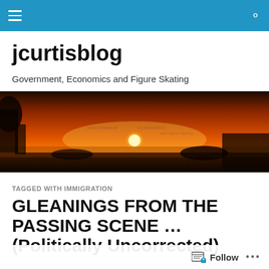jcurtisblog navigation header
jcurtisblog
Government, Economics and Figure Skating
[Figure (photo): Sunset landscape photo with orange and red sky, silhouetted trees, and overlaid text labels: GOVERNMENT, ECONOMICS, and Figure Skating]
TAGGED WITH IMMIGRATION
GLEANINGS FROM THE PASSING SCENE … (Politically Uncorrected)
Follow